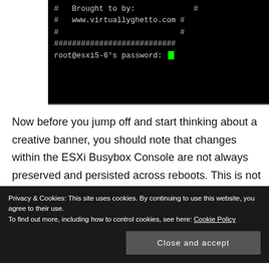[Figure (screenshot): Terminal/console window showing text: '# Brought to by: #', '# www.virtuallyghetto.com #', '#                          #', '###########################', 'root@esxi5-6\'s password:' with a green cursor block]
Now before you jump off and start thinking about a creative banner, you should note that changes within the ESXi Busybox Console are not always preserved and persisted across reboots. This is not a well known fact and the reason for this is ESXi is loaded into memory after it boots up.
There are certain configuration files (e.g.
Privacy & Cookies: This site uses cookies. By continuing to use this website, you agree to their use.
To find out more, including how to control cookies, see here: Cookie Policy
Close and accept
stickybit and have it automatically backed up, it